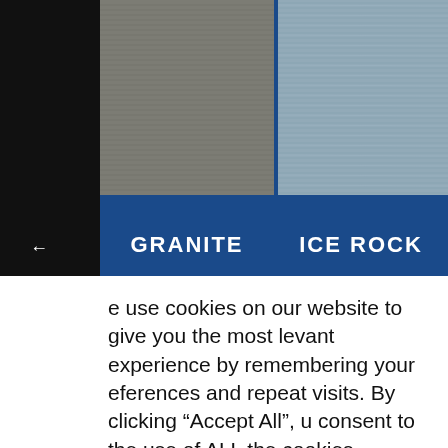[Figure (photo): Granite fabric swatch texture, top-left]
[Figure (photo): Ice Rock fabric swatch texture, top-right]
GRANITE
ICE ROCK
[Figure (photo): Bottom-left fabric swatch texture, gray-green]
[Figure (photo): Bottom-right fabric swatch texture, tan-copper]
e use cookies on our website to give you the most levant experience by remembering your eferences and repeat visits. By clicking “Accept All”, u consent to the use of ALL the cookies. However, u may visit "Cookie Settings" to provide a controlled consent.
Cookie Settings
Accept All